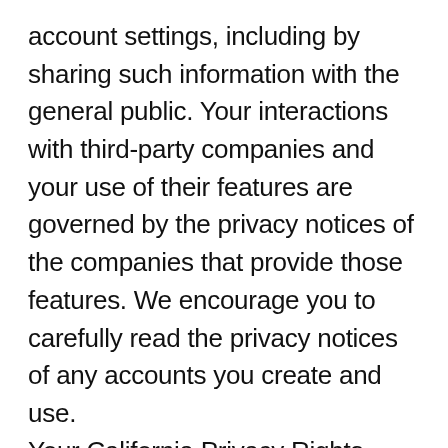account settings, including by sharing such information with the general public. Your interactions with third-party companies and your use of their features are governed by the privacy notices of the companies that provide those features. We encourage you to carefully read the privacy notices of any accounts you create and use.
Your California Privacy Rights
For California Residents Only: As described in this Privacy Policy, we may make your personal information available